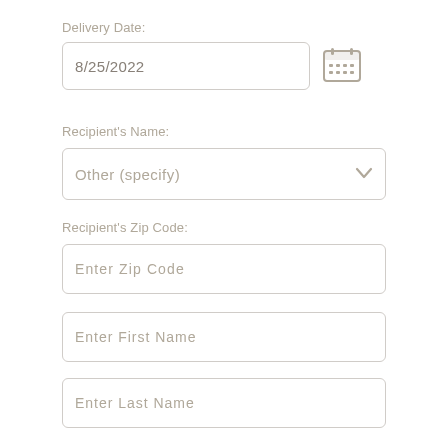Delivery Date:
8/25/2022
Recipient's Name:
Other (specify)
Recipient's Zip Code:
Enter Zip Code
Enter First Name
Enter Last Name